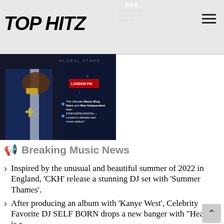TOP HITZ
[Figure (photo): Photo of a person in a dark blue tracksuit with gold chains and a watch, with overlay text about music blogs and LONDONFM.DIGITAL. GLOBAL STARS tag visible. Red radio logo overlay.]
Breaking Music News
Inspired by the unusual and beautiful summer of 2022 in England, 'CKH' release a stunning DJ set with 'Summer Thames'.
After producing an album with 'Kanye West', Celebrity Favorite DJ SELF BORN drops a new banger with "Heaven is a